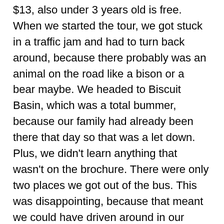$13, also under 3 years old is free.  When we started the tour, we got stuck in a traffic jam and had to turn back around, because there probably was an animal on the road like a bison or a bear maybe. We headed to Biscuit Basin, which was a total bummer, because our family had already been there that day so that was a let down. Plus, we didn't learn anything that wasn't on the brochure. There were only two places we got out of the bus.  This was disappointing, because that meant we could have driven around in our minivan and seen the same things.  Then, finally we went back to the place we were supposed to go to in the first place.  Since we had to make the first detour, we only drove through that area, and we didn't get to get out of the bus.  We also didn't get a chance to really slow down and look at anything.   That was the end of the tour which was a total bummer, because we didn't learn anything new.  So if I were you, I would save my money